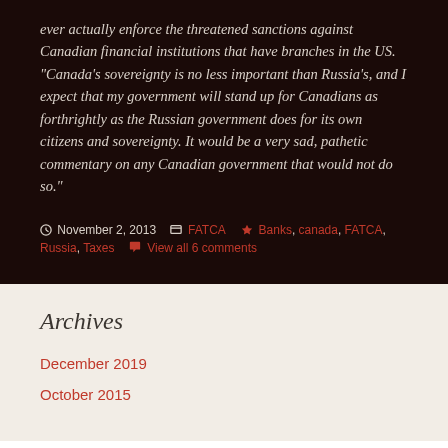ever actually enforce the threatened sanctions against Canadian financial institutions that have branches in the US. “Canada’s sovereignty is no less important than Russia’s, and I expect that my government will stand up for Canadians as forthrightly as the Russian government does for its own citizens and sovereignty. It would be a very sad, pathetic commentary on any Canadian government that would not do so.”
November 2, 2013 | FATCA | Banks, canada, FATCA, Russia, Taxes | View all 6 comments
Archives
December 2019
October 2015